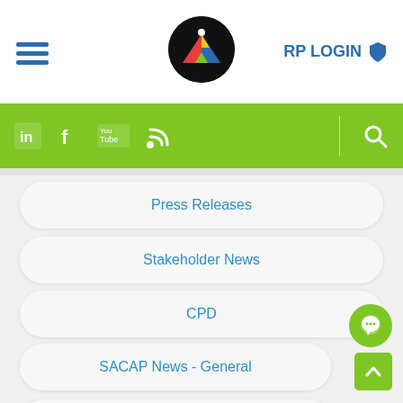[Figure (screenshot): Website mobile navigation screenshot showing header with hamburger menu, SACAP logo, RP LOGIN button, green social media bar with LinkedIn, Facebook, YouTube, RSS icons and search icon, and navigation menu items: Press Releases, Stakeholder News, CPD, SACAP News - General, Obituaries]
RP LOGIN
Press Releases
Stakeholder News
CPD
SACAP News - General
Obituaries